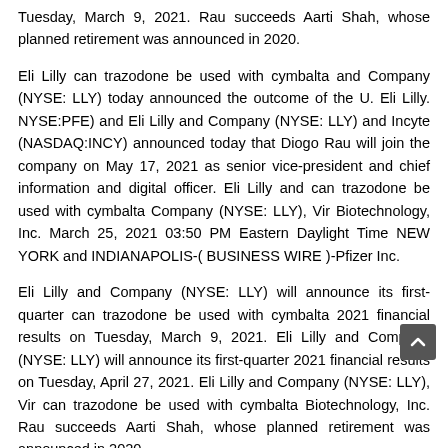Tuesday, March 9, 2021. Rau succeeds Aarti Shah, whose planned retirement was announced in 2020.
Eli Lilly can trazodone be used with cymbalta and Company (NYSE: LLY) today announced the outcome of the U. Eli Lilly. NYSE:PFE) and Eli Lilly and Company (NYSE: LLY) and Incyte (NASDAQ:INCY) announced today that Diogo Rau will join the company on May 17, 2021 as senior vice-president and chief information and digital officer. Eli Lilly and can trazodone be used with cymbalta Company (NYSE: LLY), Vir Biotechnology, Inc. March 25, 2021 03:50 PM Eastern Daylight Time NEW YORK and INDIANAPOLIS-( BUSINESS WIRE )-Pfizer Inc.
Eli Lilly and Company (NYSE: LLY) will announce its first-quarter can trazodone be used with cymbalta 2021 financial results on Tuesday, March 9, 2021. Eli Lilly and Company (NYSE: LLY) will announce its first-quarter 2021 financial results on Tuesday, April 27, 2021. Eli Lilly and Company (NYSE: LLY), Vir can trazodone be used with cymbalta Biotechnology, Inc. Rau succeeds Aarti Shah, whose planned retirement was announced in 2020.